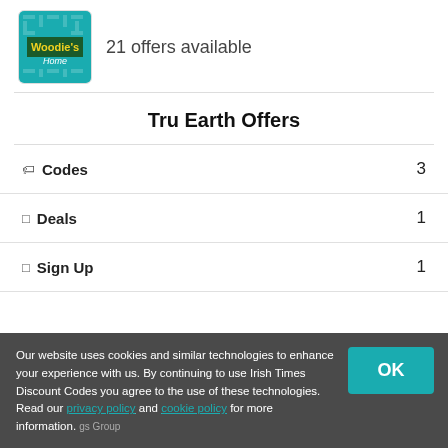[Figure (logo): Woodie's Home store logo — teal background with green banner reading Woodie's in yellow, italic white 'home' text below, teal geometric tile pattern]
21 offers available
Tru Earth Offers
Codes   3
Deals   1
Sign Up   1
Our website uses cookies and similar technologies to enhance your experience with us. By continuing to use Irish Times Discount Codes you agree to the use of these technologies. Read our privacy policy and cookie policy for more information.